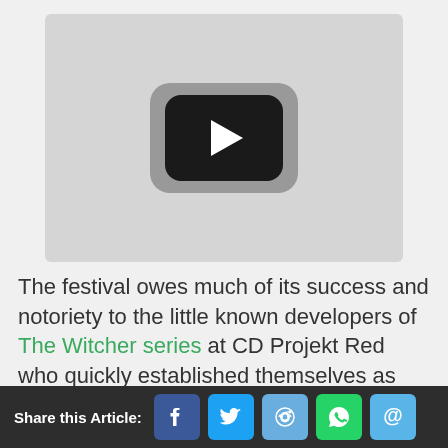[Figure (screenshot): Video thumbnail with YouTube-style play button icon on a light gray background]
The festival owes much of its success and notoriety to the little known developers of The Witcher series at CD Projekt Red who quickly established themselves as professional storytellers and RPG designers. A rags to riches
Share this Article: [Facebook] [Twitter] [Reddit] [WhatsApp] [Email]